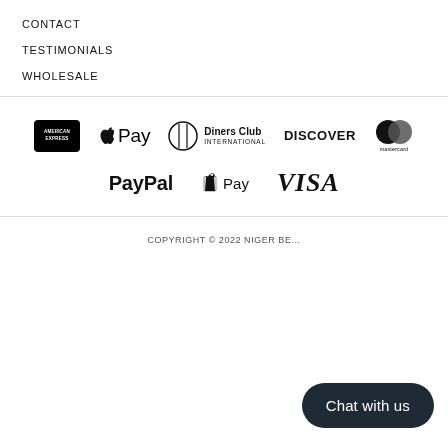CONTACT
TESTIMONIALS
WHOLESALE
[Figure (logo): Payment method logos: American Express, Apple Pay, Diners Club International, Discover, Mastercard, PayPal, Shopify Pay, Visa]
COPYRIGHT © 2022 NIGER BE...
Chat with us